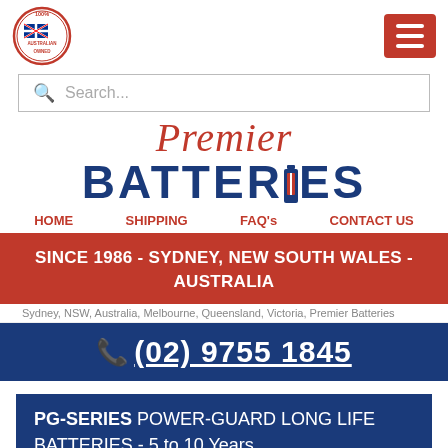[Figure (logo): 100% Australian Owned circular badge logo with Australian flag]
[Figure (logo): Red hamburger menu button with three white horizontal lines]
Search...
[Figure (logo): Premier Batteries brand logo — 'Premier' in red italic script, 'BATTERIES' in bold dark blue with battery icon replacing the letter I]
HOME  SHIPPING  FAQ's  CONTACT US
SINCE 1986 - SYDNEY, NEW SOUTH WALES - AUSTRALIA
Sydney, NSW, Australia, Melbourne, Queensland, Victoria, Premier Batteries
(02) 9755 1845
PG-SERIES POWER-GUARD LONG LIFE BATTERIES - 5 to 10 Years